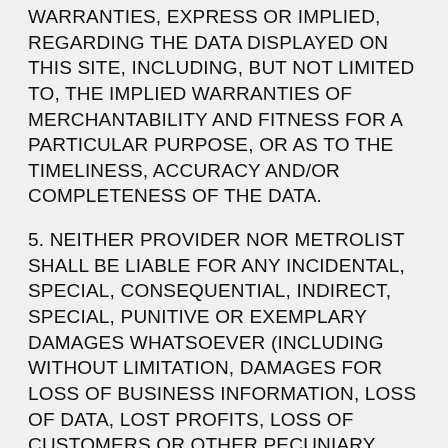WARRANTIES, EXPRESS OR IMPLIED, REGARDING THE DATA DISPLAYED ON THIS SITE, INCLUDING, BUT NOT LIMITED TO, THE IMPLIED WARRANTIES OF MERCHANTABILITY AND FITNESS FOR A PARTICULAR PURPOSE, OR AS TO THE TIMELINESS, ACCURACY AND/OR COMPLETENESS OF THE DATA.
5. NEITHER PROVIDER NOR METROLIST SHALL BE LIABLE FOR ANY INCIDENTAL, SPECIAL, CONSEQUENTIAL, INDIRECT, SPECIAL, PUNITIVE OR EXEMPLARY DAMAGES WHATSOEVER (INCLUDING WITHOUT LIMITATION, DAMAGES FOR LOSS OF BUSINESS INFORMATION, LOSS OF DATA, LOST PROFITS, LOSS OF CUSTOMERS OR OTHER PECUNIARY LOSS), ARISING OUT OF THE USE OR INABILITY TO USE THE DATA DISPLAYED ON THIS SITE, WHETHER THE CLAIM OR CAUSE OF ACTION ARISES IN TORT, CONTRACT, NEGLIGENCE, STRICT LIABILITY OR UNDER ANY OTHER LEGAL THEORY.